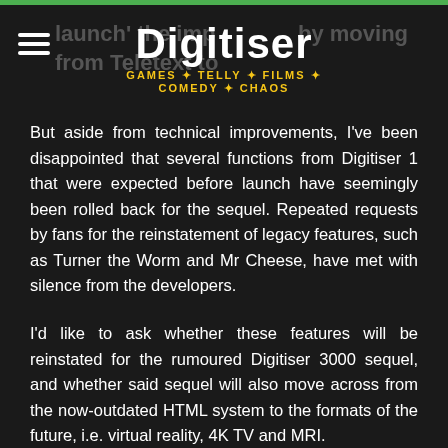Digitiser — GAMES · TELLY · FILMS · COMEDY · CHAOS
But aside from technical improvements, I've been disappointed that several functions from Digitiser 1 that were expected before launch have seemingly been rolled back for the sequel. Repeated requests by fans for the reinstatement of legacy features, such as Turner the Worm and Mr Cheese, have met with silence from the developers.
I'd like to ask whether these features will be reinstated for the rumoured Digitiser 3000 sequel, and whether said sequel will also move across from the now-outdated HTML system to the formats of the future, i.e. virtual reality, 4K TV and MRI.
Senso Entitelment